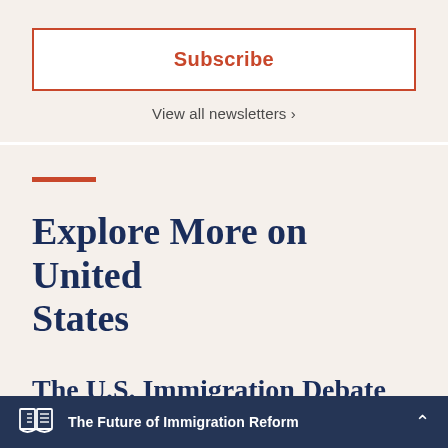Subscribe
View all newsletters >
Explore More on United States
The U.S. Immigration Debate
The Future of Immigration Reform